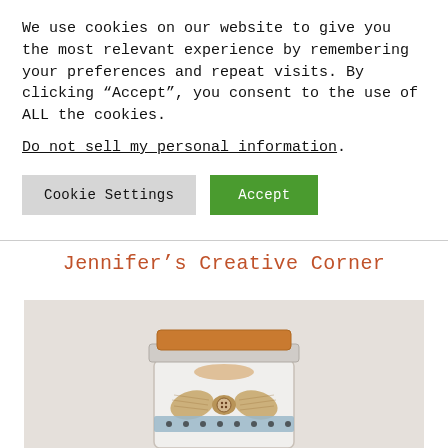We use cookies on our website to give you the most relevant experience by remembering your preferences and repeat visits. By clicking “Accept”, you consent to the use of ALL the cookies.
Do not sell my personal information.
Cookie Settings | Accept
Jennifer’s Creative Corner
[Figure (photo): A mason jar with a brown/orange lid, decorated with burlap bow and polka-dot ribbon, containing cookies or craft items, on a light grey background.]